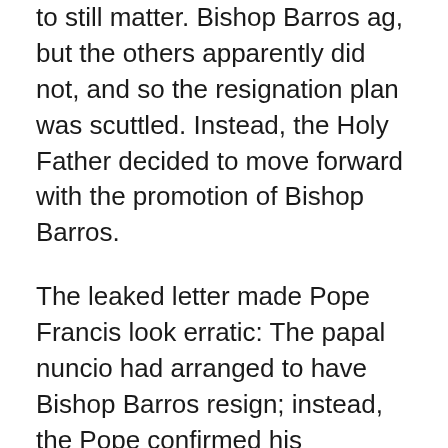to still matter. Bishop Barros ag, but the others apparently did not, and so the resignation plan was scuttled. Instead, the Holy Father decided to move forward with the promotion of Bishop Barros.
The leaked letter made Pope Francis look erratic: The papal nuncio had arranged to have Bishop Barros resign; instead, the Pope confirmed his appointment and insisted upon it even in the face of the Chilean bishops' vehement protest.
Why was the embarrassing letter leaked